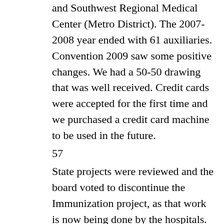and Southwest Regional Medical Center (Metro District). The 2007-2008 year ended with 61 auxiliaries. Convention 2009 saw some positive changes. We had a 50-50 drawing that was well received. Credit cards were accepted for the first time and we purchased a credit card machine to be used in the future.
57
State projects were reviewed and the board voted to discontinue the Immunization project, as that work is now being done by the hospitals. The President-elect, State Projects Chair, worked with MedicAlert to start a pilot program in which the AHAA would partner with MedicAlert to encourage more participation. New MedicAlert brochures, with the AHAA logo, were given to one